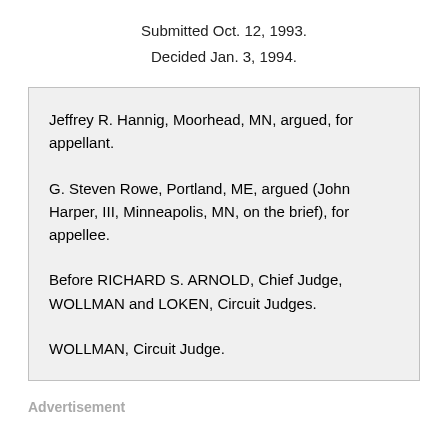Submitted Oct. 12, 1993.
Decided Jan. 3, 1994.
Jeffrey R. Hannig, Moorhead, MN, argued, for appellant.
G. Steven Rowe, Portland, ME, argued (John Harper, III, Minneapolis, MN, on the brief), for appellee.
Before RICHARD S. ARNOLD, Chief Judge, WOLLMAN and LOKEN, Circuit Judges.
WOLLMAN, Circuit Judge.
Advertisement